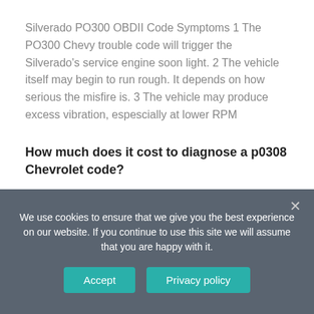Silverado PO300 OBDII Code Symptoms 1 The PO300 Chevy trouble code will trigger the Silverado's service engine soon light. 2 The vehicle itself may begin to run rough. It depends on how serious the misfire is. 3 The vehicle may produce excess vibration, espescially at lower RPM
How much does it cost to diagnose a p0308 Chevrolet code?
The cost of diagnosing the PO308 CHEVROLET
We use cookies to ensure that we give you the best experience on our website. If you continue to use this site we will assume that you are happy with it.